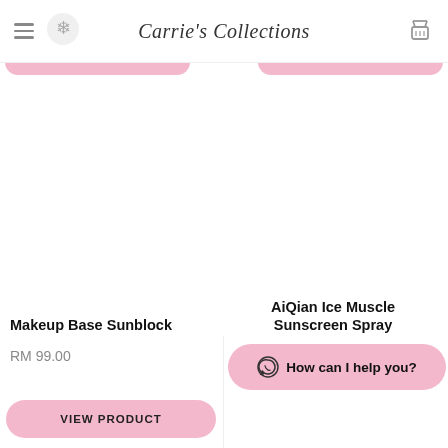Carrie's Collections
Makeup Base Sunblock
RM 99.00
VIEW PRODUCT
AiQian Ice Muscle Sunscreen Spray
How can I help you?